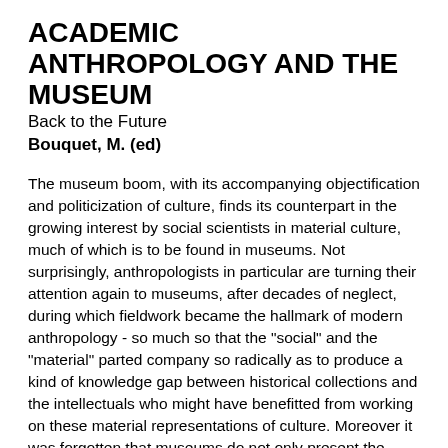ACADEMIC ANTHROPOLOGY AND THE MUSEUM
Back to the Future
Bouquet, M. (ed)
The museum boom, with its accompanying objectification and politicization of culture, finds its counterpart in the growing interest by social scientists in material culture, much of which is to be found in museums. Not surprisingly, anthropologists in particular are turning their attention again to museums, after decades of neglect, during which fieldwork became the hallmark of modern anthropology - so much so that the "social" and the "material" parted company so radically as to produce a kind of knowledge gap between historical collections and the intellectuals who might have benefitted from working on these material representations of culture. Moreover it was forgotten that museums do not only present the "pastness" of things. A great deal of what goes on in contemporary museums is literally about planning the shape of the future: making culture materialize involves mixing things from the past, taking into account current